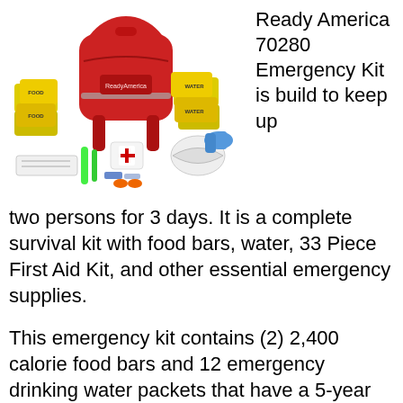[Figure (photo): Red Ready America backpack emergency kit with food bars, water packets, first aid kit, gloves, dust mask, and other emergency supplies spread out in front of the backpack.]
Ready America 70280 Emergency Kit is build to keep up two persons for 3 days. It is a complete survival kit with food bars, water, 33 Piece First Aid Kit, and other essential emergency supplies.
This emergency kit contains (2) 2,400 calorie food bars and 12 emergency drinking water packets that have a 5-year shelf life and are from Mayday Industries, a U.S. Coast Guard approved and certified